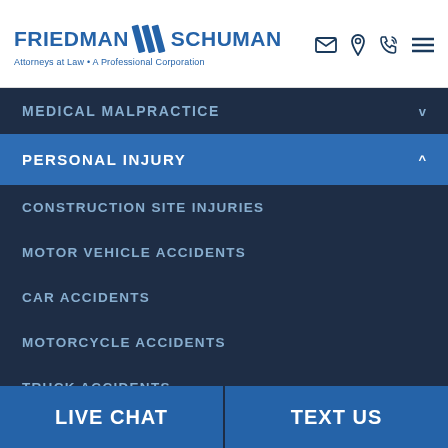[Figure (logo): Friedman Schuman law firm logo with diagonal stripe graphic, text 'FRIEDMAN SCHUMAN Attorneys at Law • A Professional Corporation' in blue]
[Figure (infographic): Header icons: envelope, location pin, phone, hamburger menu]
MEDICAL MALPRACTICE
PERSONAL INJURY
CONSTRUCTION SITE INJURIES
MOTOR VEHICLE ACCIDENTS
CAR ACCIDENTS
MOTORCYCLE ACCIDENTS
TRUCK ACCIDENTS
LIVE CHAT
TEXT US